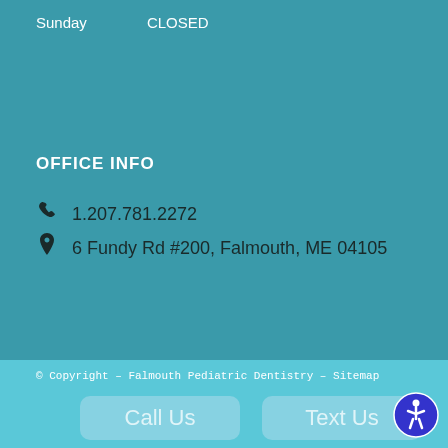Sunday    CLOSED
OFFICE INFO
1.207.781.2272
6 Fundy Rd #200, Falmouth, ME 04105
© Copyright – Falmouth Pediatric Dentistry – Sitemap
Call Us
Text Us